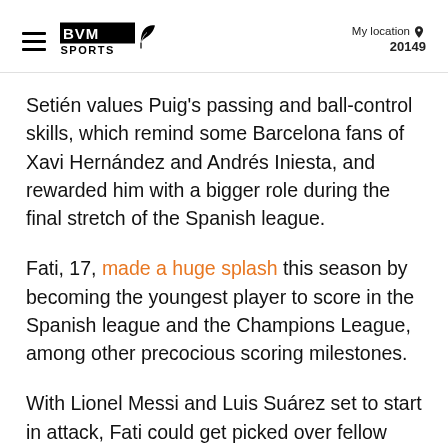BVM Sports | My location 20149
Setién values Puig's passing and ball-control skills, which remind some Barcelona fans of Xavi Hernández and Andrés Iniesta, and rewarded him with a bigger role during the final stretch of the Spanish league.
Fati, 17, made a huge splash this season by becoming the youngest player to score in the Spanish league and the Champions League, among other precocious scoring milestones.
With Lionel Messi and Luis Suárez set to start in attack, Fati could get picked over fellow forward Antoine Griezmann, who was cleared to play by team doctors on Friday after having